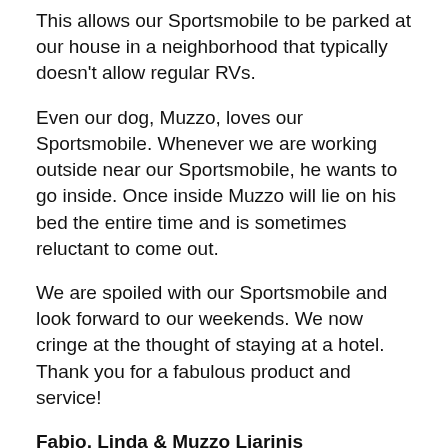This allows our Sportsmobile to be parked at our house in a neighborhood that typically doesn't allow regular RVs.
Even our dog, Muzzo, loves our Sportsmobile. Whenever we are working outside near our Sportsmobile, he wants to go inside. Once inside Muzzo will lie on his bed the entire time and is sometimes reluctant to come out.
We are spoiled with our Sportsmobile and look forward to our weekends. We now cringe at the thought of staying at a hotel. Thank you for a fabulous product and service!
Fabio, Linda & Muzzo Liarinis